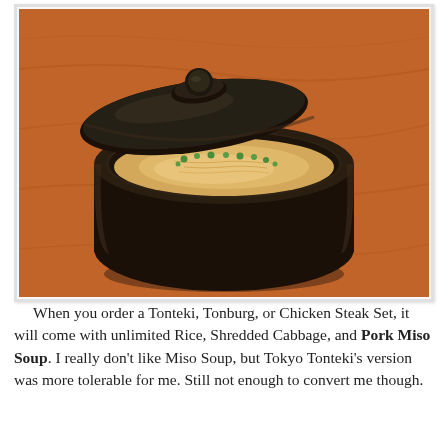[Figure (photo): A black lacquered bowl with its lid ajar, containing miso soup with tofu strands and green peas, sitting on a wooden table with orange-red tones.]
When you order a Tonteki, Tonburg, or Chicken Steak Set, it will come with unlimited Rice, Shredded Cabbage, and Pork Miso Soup. I really don't like Miso Soup, but Tokyo Tonteki's version was more tolerable for me. Still not enough to convert me though.